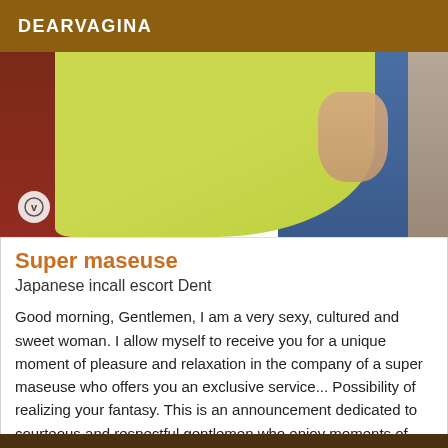DEARVAGINA
[Figure (photo): Photo of a person wearing a yellow-green fitted shirt, partial torso view, with blue seating and gray wall in background. Small circular logo with 'v' in bottom left corner.]
Super maseuse
Japanese incall escort Dent
Good morning, Gentlemen, I am a very sexy, cultured and sweet woman. I allow myself to receive you for a unique moment of pleasure and relaxation in the company of a super maseuse who offers you an exclusive service... Possibility of realizing your fantasy. This is an announcement dedicated to courteous and respectful gentlemen who enjoy moments of pleasure, in mutual respect. To the pleasure